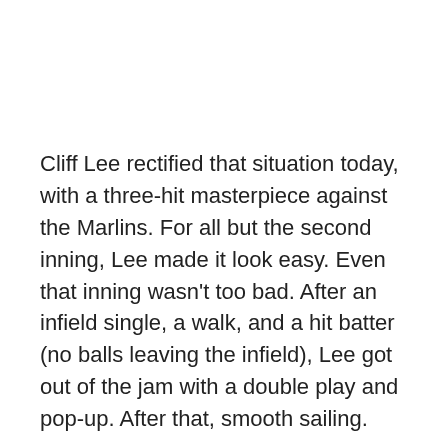Cliff Lee rectified that situation today, with a three-hit masterpiece against the Marlins. For all but the second inning, Lee made it look easy. Even that inning wasn't too bad. After an infield single, a walk, and a hit batter (no balls leaving the infield), Lee got out of the jam with a double play and pop-up. After that, smooth sailing.
For the second night in a row, the offense wasn't offensive. Delmon Young hit his third home run of the season to start the scoring off in the fourth. In the sixth, he had an infield single and then came around to score on Domonic Brown's triple. Freddy Galvis then knocked in Brown with a single.